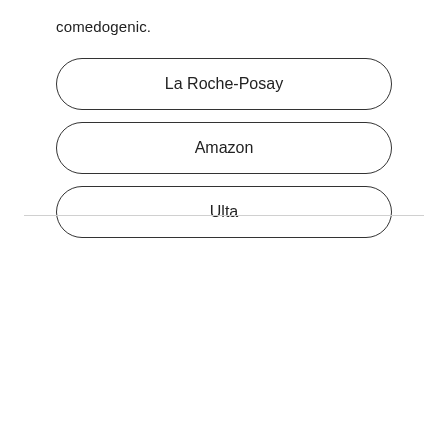comedogenic.
La Roche-Posay
Amazon
Ulta